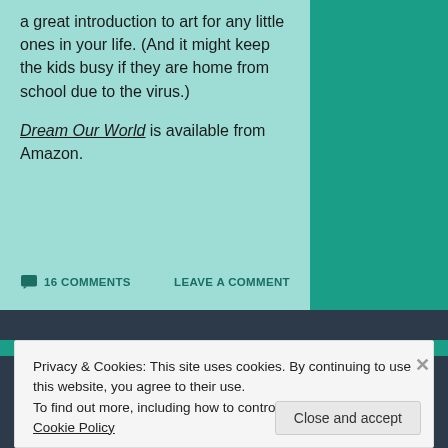a great introduction to art for any little ones in your life.  (And it might keep the kids busy if they are home from school due to the virus.)
Dream Our World is available from Amazon.
16 COMMENTS   LEAVE A COMMENT
Privacy & Cookies: This site uses cookies. By continuing to use this website, you agree to their use.
To find out more, including how to control cookies, see here: Cookie Policy
Close and accept